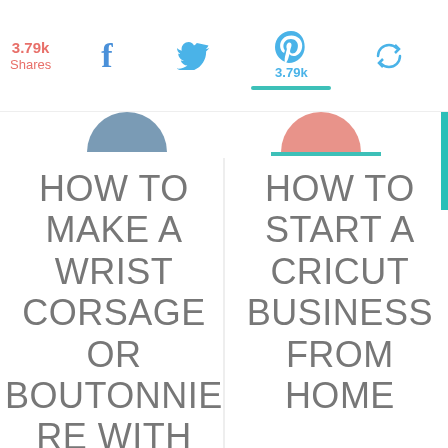3.79k Shares | Facebook | Twitter | Pinterest 3.79k | Share
[Figure (illustration): Two circular cropped images — left showing a blue-grey image, right showing a pink/salmon image with teal underline bar]
HOW TO MAKE A WRIST CORSAGE OR BOUTONNIE RE WITH FRESH FLOWERS!
HOW TO START A CRICUT BUSINESS FROM HOME